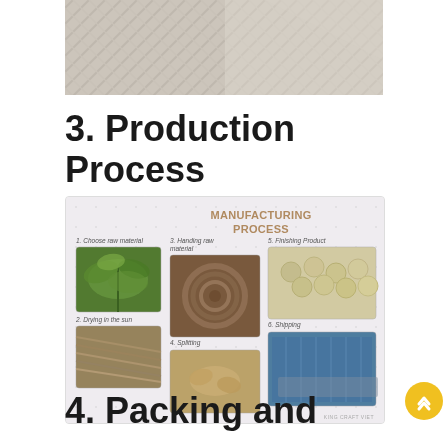[Figure (photo): Close-up photo of a woven textile/fabric material in beige/cream tones, showing diamond pattern weave]
3. Production Process
[Figure (infographic): Manufacturing Process infographic showing 6 steps: 1. Choose raw material (green plant photo), 2. Drying in the sun (dried plant material photo), 3. Handing raw material (coiled rope/fiber photo), 4. Splitting (hands splitting material photo), 5. Finishing Product (finished round products photo), 6. Shipping (container truck loading photo). Watermark: KING CRAFT VIET]
4. Packing and